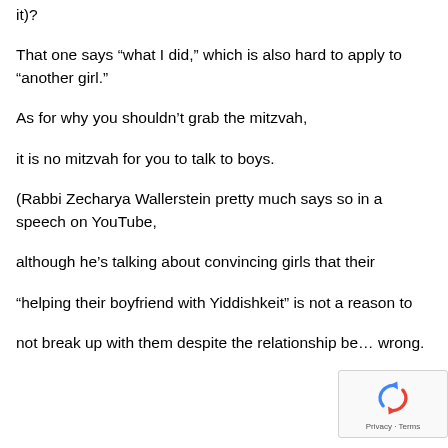it)?
That one says “what I did,” which is also hard to apply to “another girl.”
As for why you shouldn’t grab the mitzvah,
it is no mitzvah for you to talk to boys.
(Rabbi Zecharya Wallerstein pretty much says so in a speech on YouTube,
although he’s talking about convincing girls that their
“helping their boyfriend with Yiddishkeit” is not a reason to
not break up with them despite the relationship be… wrong.